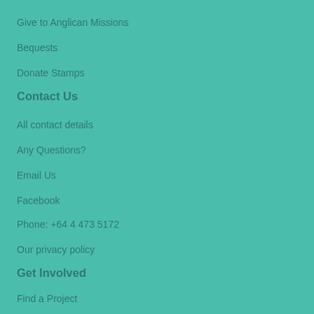Give to Anglican Missions
Bequests
Donate Stamps
Contact Us
All contact details
Any Questions?
Email Us
Facebook
Phone: +64 4 473 5172
Our privacy policy
Get Involved
Find a Project
Our Partners